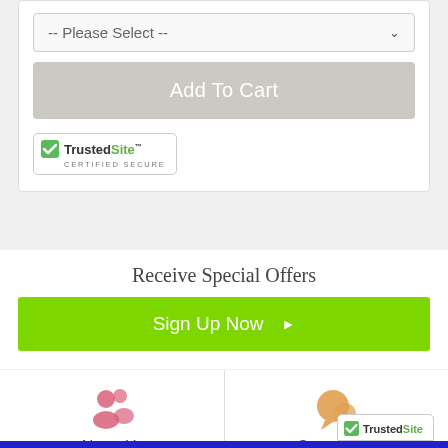[Figure (screenshot): Dropdown selector showing '-- Please Select --' with chevron]
[Figure (screenshot): Grayed out 'Add To Cart' button]
[Figure (logo): TrustedSite Certified Secure badge]
Receive Special Offers
[Figure (screenshot): Green 'Sign Up Now' button with arrow]
[Figure (infographic): About Us icon (people silhouette in pink) and Contact Us icon (speech bubble in orange) with blue labels]
[Figure (logo): Partial TrustedSite badge at bottom right corner]